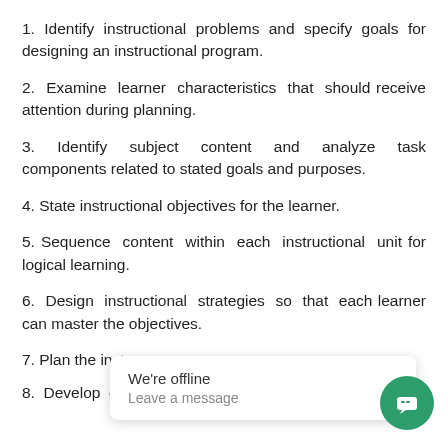1. Identify instructional problems and specify goals for designing an instructional program.
2. Examine learner characteristics that should receive attention during planning.
3. Identify subject content and analyze task components related to stated goals and purposes.
4. State instructional objectives for the learner.
5. Sequence content within each instructional unit for logical learning.
6. Design instructional strategies so that each learner can master the objectives.
7. Plan the instru…
8. Develop ev… instruments to …sess